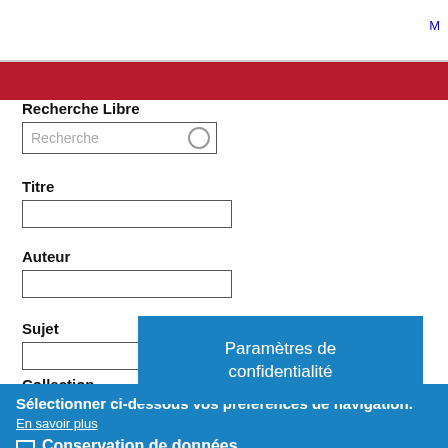M
Recherche Libre
Recherche
Titre
Auteur
Sujet
Collection
Paramètres de confidentialité
Sélectionner ci-dessous vos préférences de navigation.
En savoir plus
Conservation de données
Pour permettre des statistiques liées à votre navigation. Si vous désactivez ce